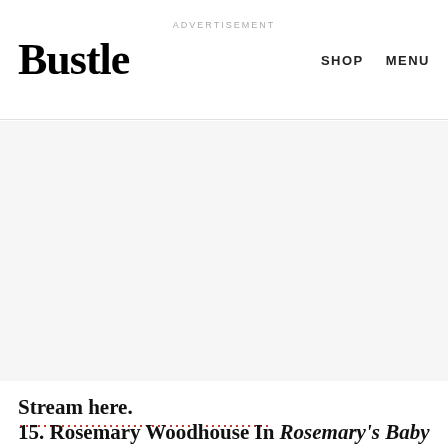Bustle  SHOP  MENU
[Figure (other): Advertisement placeholder area — light gray background]
Stream here.
15. Rosemary Woodhouse In Rosemary's Baby